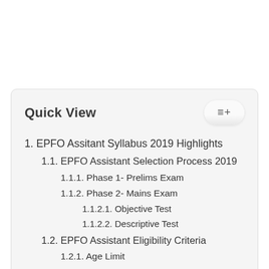Quick View
1. EPFO Assitant Syllabus 2019 Highlights
1.1. EPFO Assistant Selection Process 2019
1.1.1. Phase 1- Prelims Exam
1.1.2. Phase 2- Mains Exam
1.1.2.1. Objective Test
1.1.2.2. Descriptive Test
1.2. EPFO Assistant Eligibility Criteria
1.2.1. Age Limit
1.3. EPFO Assistant Salary details 2019